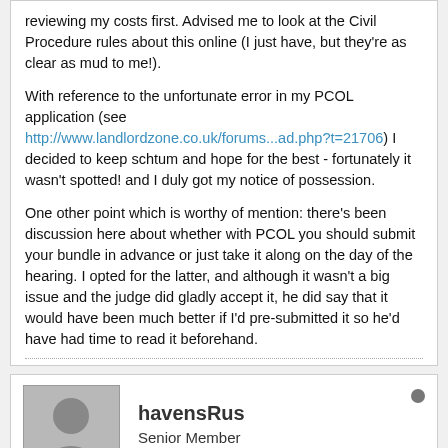reviewing my costs first. Advised me to look at the Civil Procedure rules about this online (I just have, but they're as clear as mud to me!).

With reference to the unfortunate error in my PCOL application (see http://www.landlordzone.co.uk/forums...ad.php?t=21706) I decided to keep schtum and hope for the best - fortunately it wasn't spotted! and I duly got my notice of possession.

One other point which is worthy of mention: there's been discussion here about whether with PCOL you should submit your bundle in advance or just take it along on the day of the hearing. I opted for the latter, and although it wasn't a big issue and the judge did gladly accept it, he did say that it would have been much better if I'd pre-submitted it so he'd have had time to read it beforehand.
havensRus
Senior Member
Join Date: Jul 2009   Posts: 715
09-09-2009, 19:50 PM   #52